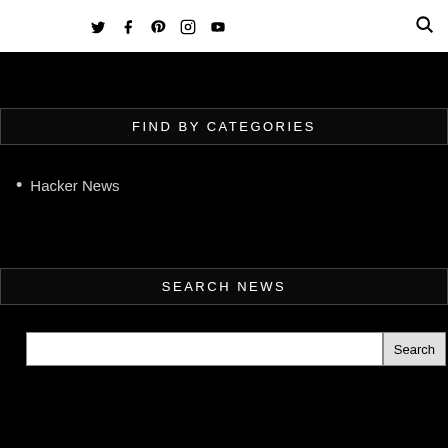Social media icons: Twitter, Facebook, Pinterest, Instagram, YouTube, Search
FIND BY CATEGORIES
Hacker News
SEARCH NEWS
Search input field with Search button